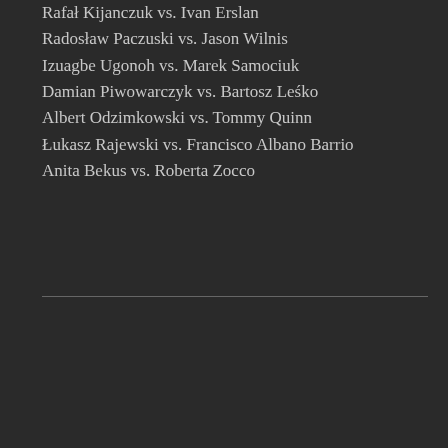Rafał Kijanczuk vs. Ivan Erslan
Radosław Paczuski vs. Jason Wilnis
Izuagbe Ugonoh vs. Marek Samociuk
Damian Piwowarczyk vs. Bartosz Leśko
Albert Odzimkowski vs. Tommy Quinn
Łukasz Rajewski vs. Francisco Albano Barrio
Anita Bekus vs. Roberta Zocco